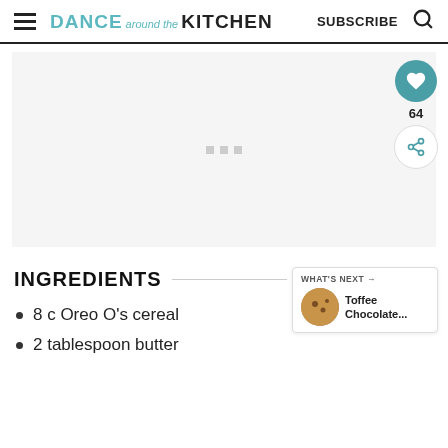DANCE around the KITCHEN   SUBSCRIBE
[Figure (other): Advertisement placeholder image with three gray dots]
INGREDIENTS
8 c Oreo O's cereal
2 tablespoon butter